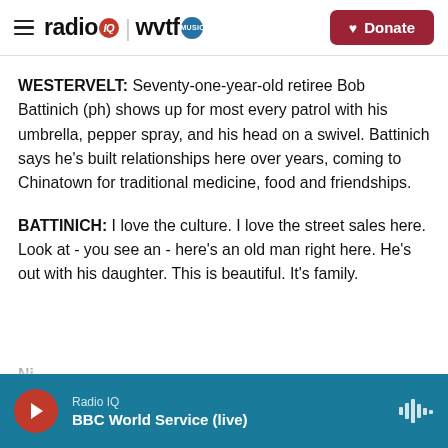[Figure (logo): Radio IQ | WVTF Music logo with hamburger menu and Donate button]
WESTERVELT: Seventy-one-year-old retiree Bob Battinich (ph) shows up for most every patrol with his umbrella, pepper spray, and his head on a swivel. Battinich says he's built relationships here over years, coming to Chinatown for traditional medicine, food and friendships.
BATTINICH: I love the culture. I love the street sales here. Look at - you see an - here's an old man right here. He's out with his daughter. This is beautiful. It's family.
Radio IQ — BBC World Service (live)